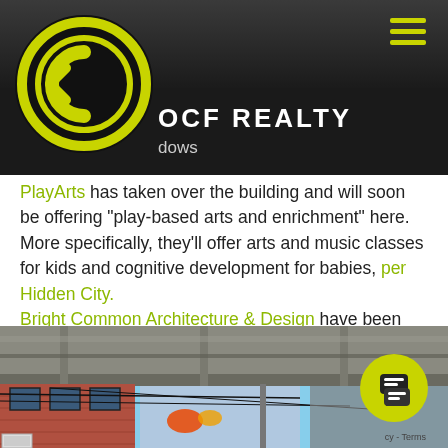OCF REALTY
PlayArts has taken over the building and will soon be offering "play-based arts and enrichment" here. More specifically, they'll offer arts and music classes for kids and cognitive development for babies, per Hidden City. Bright Common Architecture & Design have been working to renovate the building inside and out, restoring it to its former glory to the extent possible.
[Figure (photo): Street-level photo of a red brick building exterior with large windows and an elevated structure overhead, utility wires visible, colorful decorative elements on storefront]
Terms